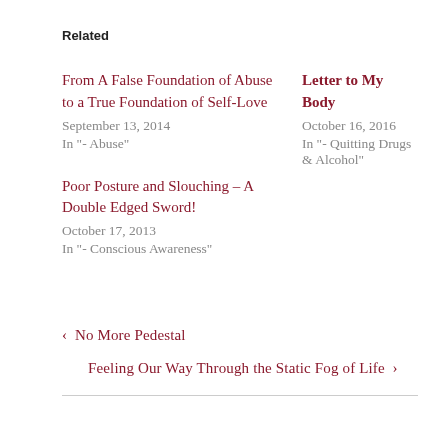Related
From A False Foundation of Abuse to a True Foundation of Self-Love
September 13, 2014
In "- Abuse"
Letter to My Body
October 16, 2016
In "- Quitting Drugs & Alcohol"
Poor Posture and Slouching – A Double Edged Sword!
October 17, 2013
In "- Conscious Awareness"
‹  No More Pedestal
Feeling Our Way Through the Static Fog of Life  ›